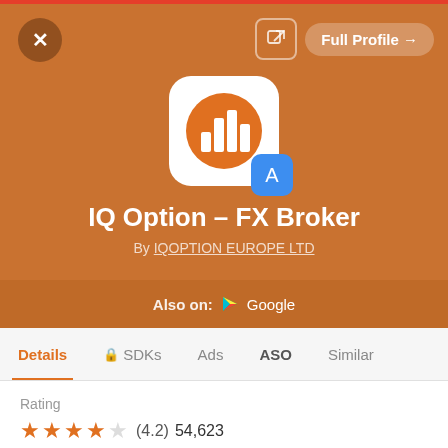[Figure (screenshot): App profile card for IQ Option – FX Broker. Orange background header with app icon (bar chart on orange circle, white rounded square), App Store badge overlay. Shows app name, developer, 'Also on: Google Play' bar, navigation tabs (Details, SDKs, Ads, ASO, Similar), Rating section with 4.2 stars and 54,623 reviews.]
IQ Option – FX Broker
By IQOPTION EUROPE LTD
Also on:  Google
Details  🔒 SDKs  Ads  ASO  Similar
Rating
★★★★★ (4.2) 54,623